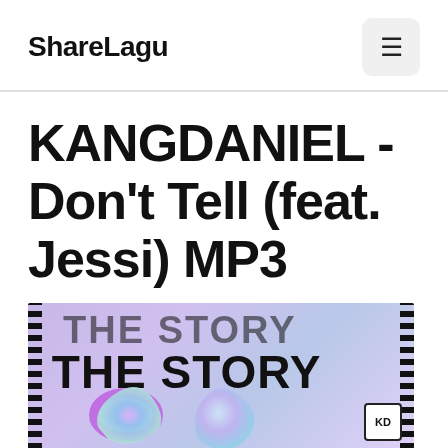ShareLagu
KANGDANIEL - Don't Tell (feat. Jessi) MP3
[Figure (photo): Album art for KANGDANIEL 'THE STORY' showing large bold text 'THE STORY' in black against a holographic/iridescent purple-blue gradient background with abstract metallic blob shapes and a KD logo badge in the bottom right corner. Decorative stripe borders on left and right edges.]